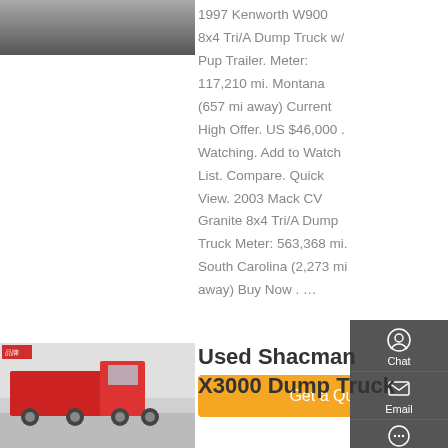[Figure (photo): Partial view of a truck at the top left of the page]
1997 Kenworth W900 8x4 Tri/A Dump Truck w/ Pup Trailer. Meter: 117,210 mi. Montana (657 mi away) Current High Offer. US $46,000 . Watching. Add to Watch List. Compare. Quick View. 2003 Mack CV Granite 8x4 Tri/A Dump Truck Meter: 563,368 mi. South Carolina (2,273 mi away) Buy Now . …
[Figure (screenshot): Sidebar with Chat, Email, Contact, and Top navigation icons on dark grey background]
[Figure (photo): Get a Quote orange button]
[Figure (photo): Photo of a red Shacman dump truck at bottom left]
Used Shacman X3000 Dump Truck